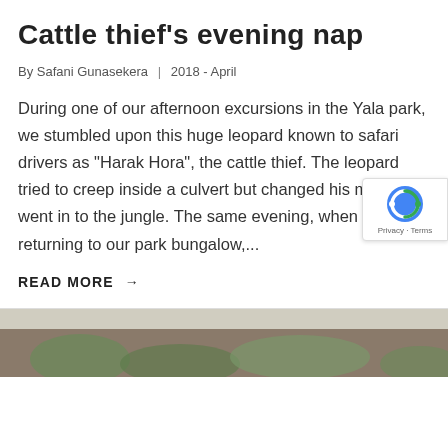Cattle thief's evening nap
By Safani Gunasekera  |  2018 - April
During one of our afternoon excursions in the Yala park, we stumbled upon this huge leopard known to safari drivers as “Harak Hora”, the cattle thief. The leopard tried to creep inside a culvert but changed his mind and went in to the jungle. The same evening, when we were returning to our park bungalow,...
READ MORE →
[Figure (photo): Partial view of a photo showing greenery and what appears to be a leopard in its natural habitat at the bottom of the page]